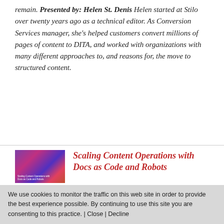remain. Presented by: Helen St. Denis Helen started at Stilo over twenty years ago as a technical editor. As Conversion Services manager, she's helped customers convert millions of pages of content to DITA, and worked with organizations with many different approaches to, and reasons for, the move to structured content.
[Figure (illustration): Book cover thumbnail for 'Scaling Content Operations with Docs as Code and Robots' with colorful abstract background]
Scaling Content Operations with Docs as Code and Robots
We use cookies to monitor the traffic on this web site in order to provide the best experience possible. By continuing to use this site you are consenting to this practice. | Close | Decline